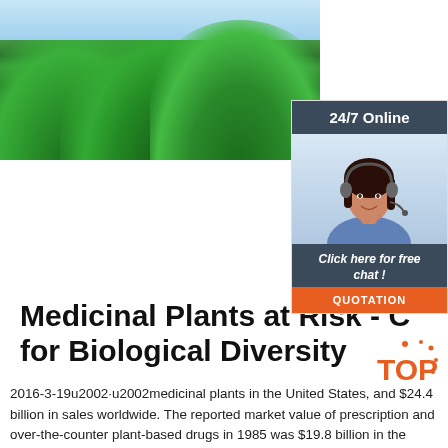[Figure (photo): Photograph of large green coniferous/deciduous trees against a blue sky, taken from below looking up at the canopy]
[Figure (infographic): 24/7 Online chat widget with a woman wearing a headset, text 'Click here for free chat!' and an orange QUOTATION button]
Medicinal Plants at Risk - C... for Biological Diversity
2016-3-19u2002·u2002medicinal plants in the United States, and $24.4 billion in sales worldwide. The reported market value of prescription and over-the-counter plant-based drugs in 1985 was $19.8 billion in the United States, and $84.3 billion worldwide (Pearce and Moran, 1994; Tuxhill, 1999)